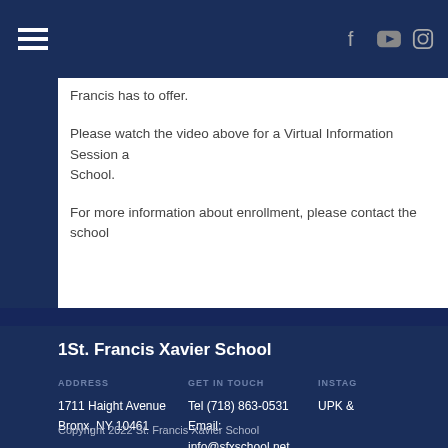Navigation and social icons header bar
Francis has to offer.
Please watch the video above for a Virtual Information Session about the School.
For more information about enrollment, please contact the school
1St. Francis Xavier School
ADDRESS
1711 Haight Avenue
Bronx, NY 10461
GET IN TOUCH
Tel (718) 863-0531
Email: info@sfxschool.net
INSTAG
UPK &
Copyright 2022 St. Francis Xavier School